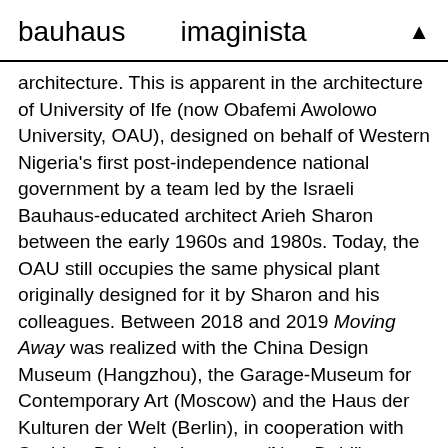bauhaus   imaginista   ▲
architecture. This is apparent in the architecture of University of Ife (now Obafemi Awolowo University, OAU), designed on behalf of Western Nigeria's first post-independence national government by a team led by the Israeli Bauhaus-educated architect Arieh Sharon between the early 1960s and 1980s. Today, the OAU still occupies the same physical plant originally designed for it by Sharon and his colleagues. Between 2018 and 2019 Moving Away was realized with the China Design Museum (Hangzhou), the Garage-Museum for Contemporary Art (Moscow) and the Haus der Kulturen der Welt (Berlin), in cooperation with Suchitra Balasubrahmanyan (New Dehli), Tatiana Efrussi (Moscow), Thomas Flierl (Berlin), Anja Guttenberger (Berlin), Eduard Kögel (Berlin), Daniel Talesnik (Santiago de Chile/Munich), Gao